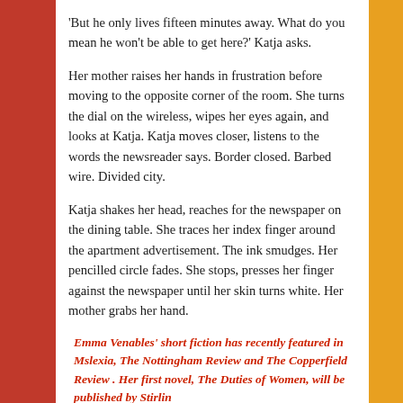'But he only lives fifteen minutes away. What do you mean he won't be able to get here?' Katja asks.
Her mother raises her hands in frustration before moving to the opposite corner of the room. She turns the dial on the wireless, wipes her eyes again, and looks at Katja. Katja moves closer, listens to the words the newsreader says. Border closed. Barbed wire. Divided city.
Katja shakes her head, reaches for the newspaper on the dining table. She traces her index finger around the apartment advertisement. The ink smudges. Her pencilled circle fades. She stops, presses her finger against the newspaper until her skin turns white. Her mother grabs her hand.
Emma Venables' short fiction has recently featured in Mslexia, The Nottingham Review and The Copperfield Review. Her first novel, The Duties of Women, will be published by Stirling...